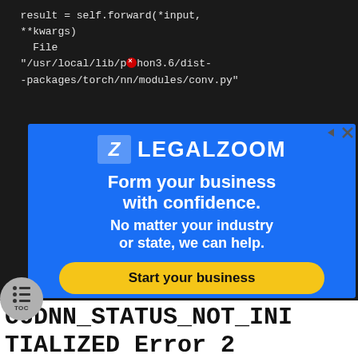[Figure (screenshot): Dark terminal/code block showing Python traceback: result = self.forward(*input, **kwargs) File "/usr/local/lib/python3.6/dist-packages/torch/nn/modules/conv.py"]
[Figure (screenshot): LegalZoom advertisement banner with blue background. Logo shows stylized Z and LEGALZOOM text. Main text: Form your business with confidence. No matter your industry or state, we can help. Yellow CTA button: Start your business]
[Figure (screenshot): Bottom portion of webpage showing large bold error text: CUDNN_STATUS_NOT_INITIALIZED Error 2]